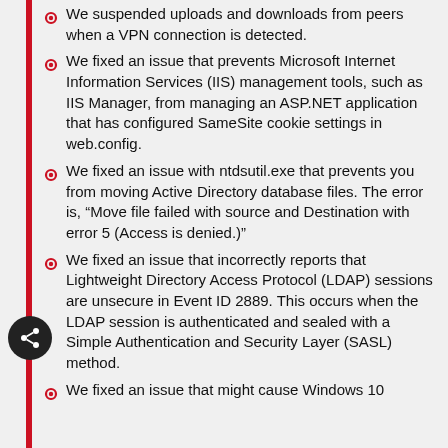We suspended uploads and downloads from peers when a VPN connection is detected.
We fixed an issue that prevents Microsoft Internet Information Services (IIS) management tools, such as IIS Manager, from managing an ASP.NET application that has configured SameSite cookie settings in web.config.
We fixed an issue with ntdsutil.exe that prevents you from moving Active Directory database files. The error is, “Move file failed with source and Destination with error 5 (Access is denied.)”
We fixed an issue that incorrectly reports that Lightweight Directory Access Protocol (LDAP) sessions are unsecure in Event ID 2889. This occurs when the LDAP session is authenticated and sealed with a Simple Authentication and Security Layer (SASL) method.
We fixed an issue that might cause Windows 10